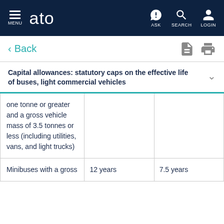MENU | ato | ASK | SEARCH | LOGIN
< Back
Capital allowances: statutory caps on the effective life of buses, light commercial vehicles
| one tonne or greater and a gross vehicle mass of 3.5 tonnes or less (including utilities, vans, and light trucks) |  |  |
| Minibuses with a gross | 12 years | 7.5 years |